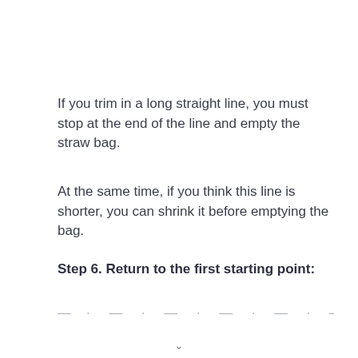If you trim in a long straight line, you must stop at the end of the line and empty the straw bag.
At the same time, if you think this line is shorter, you can shrink it before emptying the bag.
Step 6. Return to the first starting point:
— · — · — · — · — · — · — · — · — ·